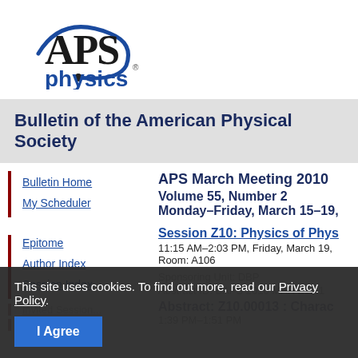[Figure (logo): APS Physics logo with blue swoosh arc and 'physics' wordmark in blue]
Bulletin of the American Physical Society
Bulletin Home
My Scheduler
Epitome
Author Index
Session Index
APS March Meeting 2010
Volume 55, Number 2
Monday–Friday, March 15–19,
Session Z10: Physics of Phys
11:15 AM–2:03 PM, Friday, March 19,
Room: A106
Sponsoring Unit: DBP
Abstract ID: BAPS 2010 MAR Z10.1
Abstract: Z10.00013 : Charac
1:39 PM–1:51 PM
This site uses cookies. To find out more, read our Privacy Policy.